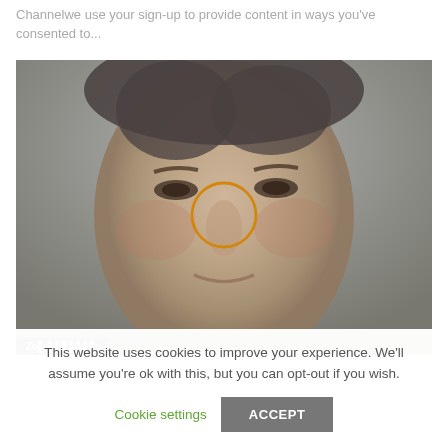Channelwe use your sign-up to provide content in ways you've consented to...
[Figure (photo): Close-up mugshot-style photo of a middle-aged Asian woman's face, slightly blurred/washed out. An orange circle is overlaid on the nose bridge area of the face. A dark label appears in the bottom-left corner of the image.]
This website uses cookies to improve your experience. We'll assume you're ok with this, but you can opt-out if you wish.
Cookie settings    ACCEPT